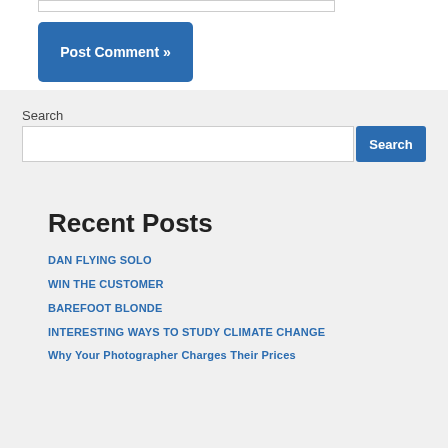Post Comment »
Search
Search
Recent Posts
DAN FLYING SOLO
WIN THE CUSTOMER
BAREFOOT BLONDE
INTERESTING WAYS TO STUDY CLIMATE CHANGE
Why Your Photographer Charges Their Prices